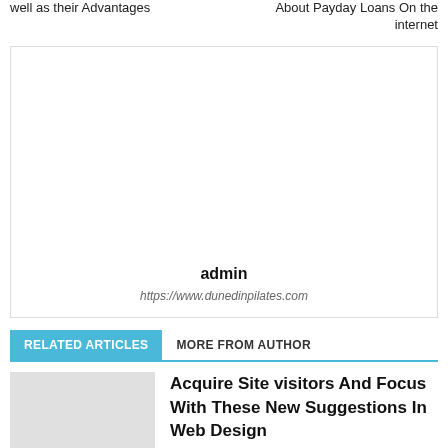well as their Advantages
About Payday Loans On the internet
[Figure (other): Author profile image placeholder (empty white box)]
admin
https://www.dunedinpilates.com
RELATED ARTICLES
MORE FROM AUTHOR
Acquire Site visitors And Focus With These New Suggestions In Web Design